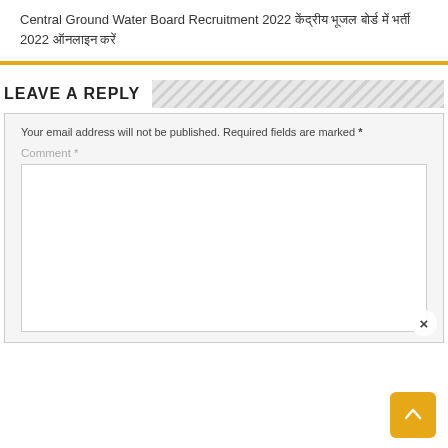Central Ground Water Board Recruitment 2022 केंद्रीय भूजल बोर्ड में भर्ती 2022 ऑनलाइन करें
LEAVE A REPLY
Your email address will not be published. Required fields are marked *
Comment *